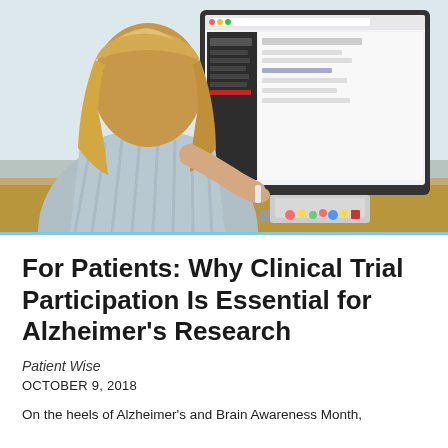[Figure (photo): A woman with blonde hair seen from behind, sitting at a desk, holding a stylus or pen, looking at an iMac computer monitor displaying what appears to be a clinical trial or data website. The desk has a wooden surface with stickers on the monitor stand. Background is bright/office setting.]
For Patients: Why Clinical Trial Participation Is Essential for Alzheimer's Research
Patient Wise
OCTOBER 9, 2018
On the heels of Alzheimer's and Brain Awareness Month,